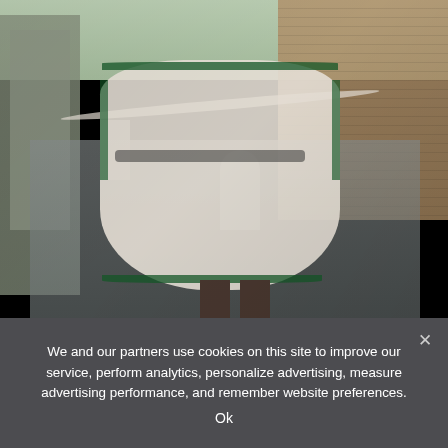[Figure (photo): A woman wearing a white dress with green embroidery and green heels poses dynamically on a rooftop in an urban setting, with city buildings visible in the background.]
We and our partners use cookies on this site to improve our service, perform analytics, personalize advertising, measure advertising performance, and remember website preferences.
Ok